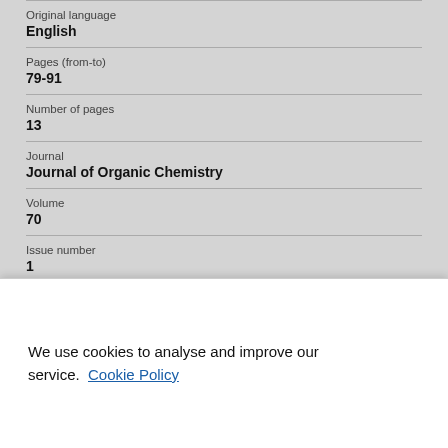Original language
English
Pages (from-to)
79-91
Number of pages
13
Journal
Journal of Organic Chemistry
Volume
70
Issue number
1
We use cookies to analyse and improve our service. Cookie Policy